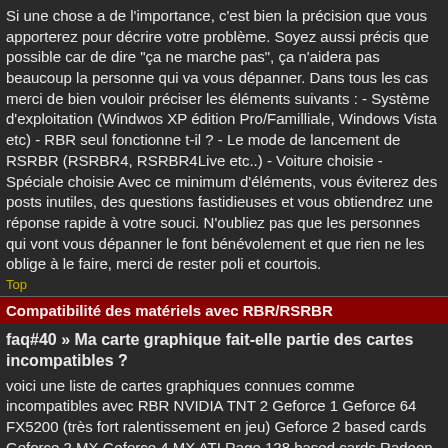Si une chose a de l'importance, c'est bien la précision que vous apporterez pour décrire votre problème. Soyez aussi précis que possible car de dire "ça ne marche pas", ça n'aidera pas beaucoup la personne qui va vous dépanner. Dans tous les cas merci de bien vouloir préciser les éléments suivants : - Système d'exploitation (Windwos XP édition Pro/Familliale, Windows Vista etc) - RBR seul fonctionne t-il ? - Le mode de lancement de RSRBR (RSRBR4, RSRBR4Live etc..) - Voiture choisie - Spéciale choisie Avec ce minimum d'éléments, vous éviterez des posts inutiles, des questions fastidieuses et vous obtiendrez une réponse rapide à votre souci. N'oubliez pas que les personnes qui vont vous dépanner le font bénévolement et que rien ne les oblige à le faire, merci de rester poli et courtois.
Top
Compatibilité des matériels avec RBR/RSRBR
faq#40 » Ma carte graphique fait-elle partie des cartes incompatibles ?
voici une liste de cartes graphiques connues comme incompatibles avec RBR NVIDIA TNT 2 Geforce 1 Geforce 64 FX5200 (très fort ralentissement en jeu) Geforce 2 based cards Geforce 2 MX Geforce 4 MX ATI Rage 128 based cards Radeon 7500 Radeon